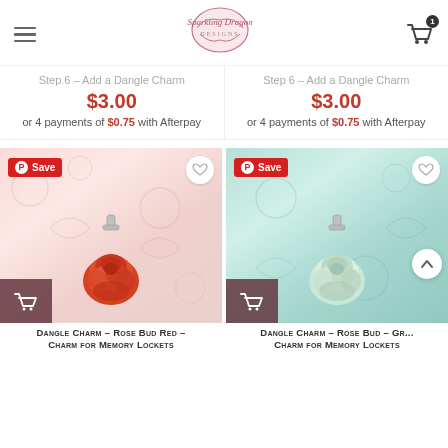Sparkling Dragon Designs – navigation header with logo and cart
Step 6 – Add a Dangle Charm
$3.00
or 4 payments of $0.75 with Afterpay
Step 6 – Add a Dangle Charm
$3.00
or 4 payments of $0.75 with Afterpay
[Figure (photo): Red rose bud charm on white floral background with Pinterest Save button, heart button, and add-to-cart overlay]
[Figure (photo): Green/mint rose bud charm on teal floral background with Pinterest Save button, heart button, and add-to-cart overlay]
Dangle Charm – Rose Bud Red – Charm for Memory Lockets
Dangle Charm – Rose Bud – Gr... – Charm for Memory Lockets